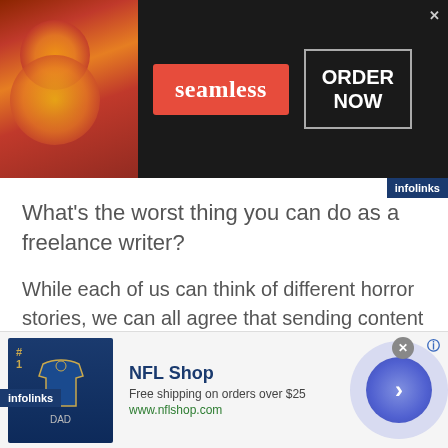[Figure (illustration): Seamless food delivery ad banner with pizza image on left, red 'seamless' badge in center, 'ORDER NOW' box on right, on dark background]
What’s the worst thing you can do as a freelance writer?
While each of us can think of different horror stories, we can all agree that sending content to a client with technical gaffes and sloppy writing is the best way to ensure you will not be invited back for another gig. But unless you have an editor to review everything you write – which we
[Figure (illustration): NFL Shop advertisement with jersey image, 'Free shipping on orders over $25', www.nflshop.com, with purple arrow circle button]